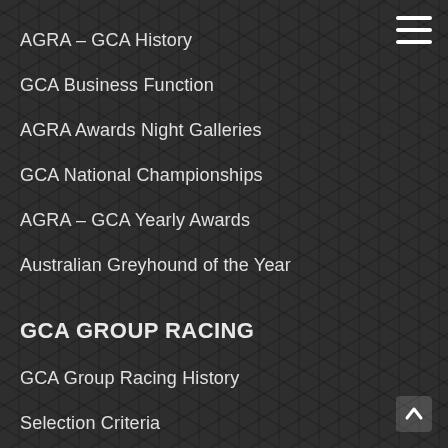AGRA – GCA History
GCA Business Function
AGRA Awards Night Galleries
GCA National Championships
AGRA – GCA Yearly Awards
Australian Greyhound of the Year
GCA GROUP RACING
GCA Group Racing History
Selection Criteria
Hall of Fame
Australian Track Records
Australia's Top Stake Earners
AGRA – GCA Nationals History